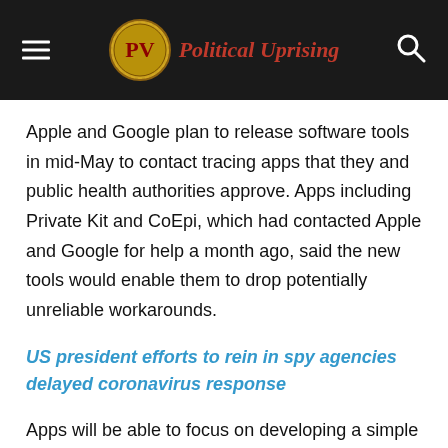Political Uprising
Apple and Google plan to release software tools in mid-May to contact tracing apps that they and public health authorities approve. Apps including Private Kit and CoEpi, which had contacted Apple and Google for help a month ago, said the new tools would enable them to drop potentially unreliable workarounds.
US president efforts to rein in spy agencies delayed coronavirus response
Apps will be able to focus on developing a simple interface for users and healthcare workers, with Apple and Google handling Bluetooth and privacy issues, said Dana Lewis, a lead developer of contact tracing app CoEpi.